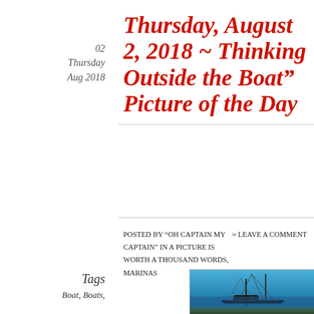02
Thursday
Aug 2018
Thursday, August 2, 2018 ~ Thinking Outside the Boat” Picture of the Day
Posted by “Oh Captain My Captain” in A Picture Is Worth A Thousand Words, Marinas
≈ Leave a comment
Tags
Boat, Boats,
[Figure (photo): Photo of sailboat masts against a blue sky at a marina]